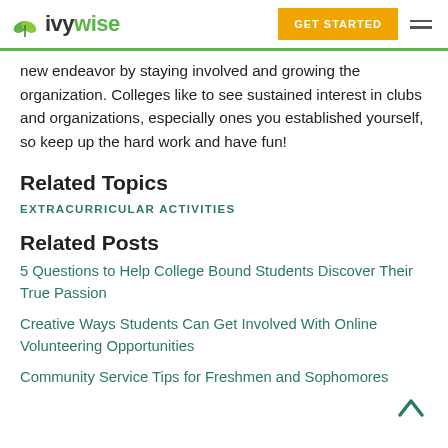IvyWise | GET STARTED
new endeavor by staying involved and growing the organization. Colleges like to see sustained interest in clubs and organizations, especially ones you established yourself, so keep up the hard work and have fun!
Related Topics
EXTRACURRICULAR ACTIVITIES
Related Posts
5 Questions to Help College Bound Students Discover Their True Passion
Creative Ways Students Can Get Involved With Online Volunteering Opportunities
Community Service Tips for Freshmen and Sophomores